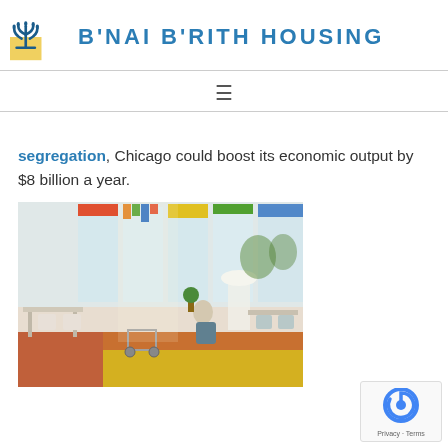B'NAI B'RITH HOUSING
segregation, Chicago could boost its economic output by $8 billion a year.
[Figure (photo): Interior of a bright, modern communal space with colorful window shades, tables, chairs, and an elderly person seated near large windows. A walker is visible in the foreground.]
Privacy · Terms